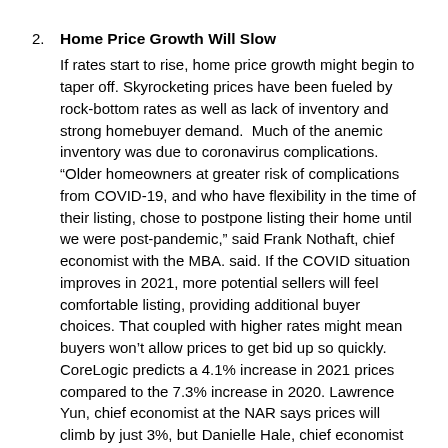2. Home Price Growth Will Slow
If rates start to rise, home price growth might begin to taper off. Skyrocketing prices have been fueled by rock-bottom rates as well as lack of inventory and strong homebuyer demand.  Much of the anemic inventory was due to coronavirus complications. “Older homeowners at greater risk of complications from COVID-19, and who have flexibility in the time of their listing, chose to postpone listing their home until we were post-pandemic,” said Frank Nothaft, chief economist with the MBA. said. If the COVID situation improves in 2021, more potential sellers will feel comfortable listing, providing additional buyer choices. That coupled with higher rates might mean buyers won’t allow prices to get bid up so quickly. CoreLogic predicts a 4.1% increase in 2021 prices compared to the 7.3% increase in 2020. Lawrence Yun, chief economist at the NAR says prices will climb by just 3%, but Danielle Hale, chief economist at Realtor.com believes they will jump 5.7%.